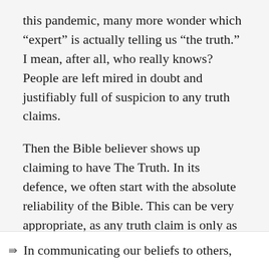this pandemic, many more wonder which “expert” is actually telling us “the truth.” I mean, after all, who really knows? People are left mired in doubt and justifiably full of suspicion to any truth claims.
Then the Bible believer shows up claiming to have The Truth. In its defence, we often start with the absolute reliability of the Bible. This can be very appropriate, as any truth claim is only as good as its source. In fact, it is very good to know how to defend the uniqueness of the Bible. We even wrote a booklet about that subject!
In communicating our beliefs to others,